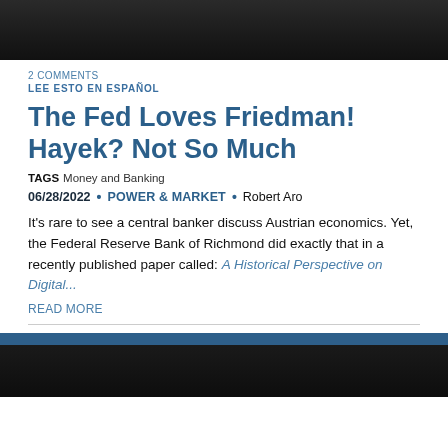[Figure (photo): Dark blurred image at top of page, appears to be a thumbnail photo]
2 COMMENTS
LEE ESTO EN ESPAÑOL
The Fed Loves Friedman! Hayek? Not So Much
TAGS  Money and Banking
06/28/2022  •  POWER & MARKET  •  Robert Aro
It's rare to see a central banker discuss Austrian economics. Yet, the Federal Reserve Bank of Richmond did exactly that in a recently published paper called: A Historical Perspective on Digital...
READ MORE
[Figure (photo): Dark blurred image at bottom of page with blue bar, appears to be another article thumbnail]